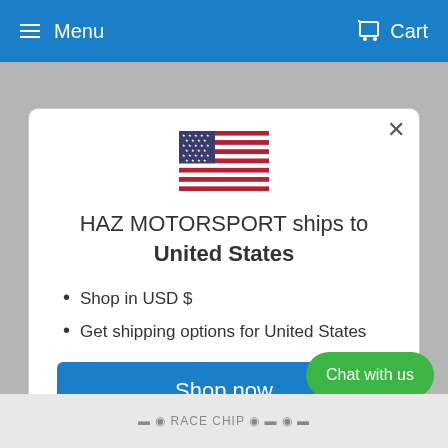Menu  Cart
[Figure (screenshot): US flag emoji/image centered in modal]
HAZ MOTORSPORT ships to United States
Shop in USD $
Get shipping options for United States
Shop now
Change shipping cou...